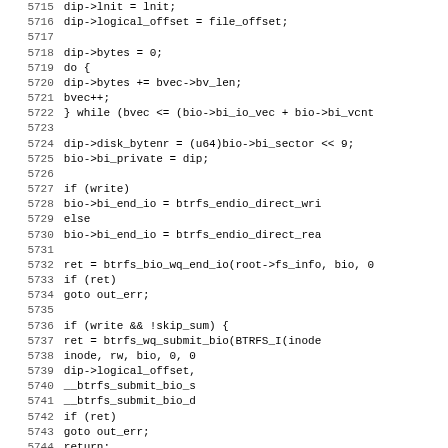[Figure (screenshot): Source code listing in monospace font showing C code lines 5715-5747, with line numbers on the left and code on the right. The code involves btrfs filesystem operations including dip->logical_offset, dip->bytes, bio->bi_end_io assignments and function calls like btrfs_bio_wq_end_io and btrfs_wq_submit_bio.]